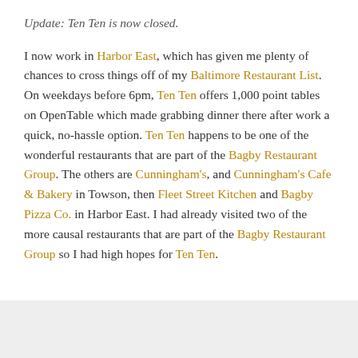Update: Ten Ten is now closed.
I now work in Harbor East, which has given me plenty of chances to cross things off of my Baltimore Restaurant List. On weekdays before 6pm, Ten Ten offers 1,000 point tables on OpenTable which made grabbing dinner there after work a quick, no-hassle option. Ten Ten happens to be one of the wonderful restaurants that are part of the Bagby Restaurant Group. The others are Cunningham's, and Cunningham's Cafe & Bakery in Towson, then Fleet Street Kitchen and Bagby Pizza Co. in Harbor East. I had already visited two of the more causal restaurants that are part of the Bagby Restaurant Group so I had high hopes for Ten Ten.
[Figure (other): Gray rectangular placeholder box at the bottom of the page]